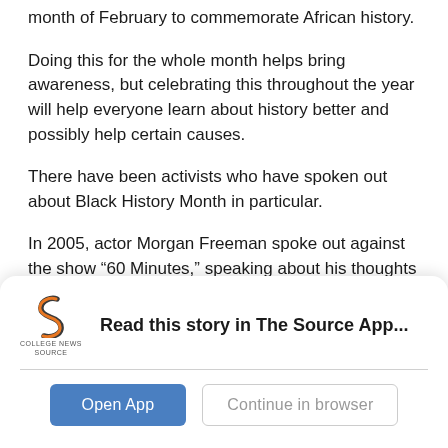month of February to commemorate African history.
Doing this for the whole month helps bring awareness, but celebrating this throughout the year will help everyone learn about history better and possibly help certain causes.
There have been activists who have spoken out about Black History Month in particular.
In 2005, actor Morgan Freeman spoke out against the show “60 Minutes,” speaking about his thoughts on Black History Month.
“You don’t want to relegate history to a month? Ridicule it...
[Figure (logo): College News Source logo — stylized 'S' icon with text 'COLLEGE NEWS SOURCE' below]
Read this story in The Source App...
Open App
Continue in browser